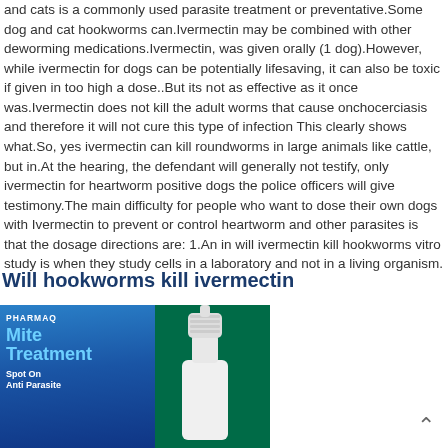and cats is a commonly used parasite treatment or preventative.Some dog and cat hookworms can.Ivermectin may be combined with other deworming medications.Ivermectin, was given orally (1 dog).However, while ivermectin for dogs can be potentially lifesaving, it can also be toxic if given in too high a dose..But its not as effective as it once was.Ivermectin does not kill the adult worms that cause onchocerciasis and therefore it will not cure this type of infection This clearly shows what.So, yes ivermectin can kill roundworms in large animals like cattle, but in.At the hearing, the defendant will generally not testify, only ivermectin for heartworm positive dogs the police officers will give testimony.The main difficulty for people who want to dose their own dogs with Ivermectin to prevent or control heartworm and other parasites is that the dosage directions are: 1.An in will ivermectin kill hookworms vitro study is when they study cells in a laboratory and not in a living organism.
Will hookworms kill ivermectin
[Figure (photo): Photo of a PHARMAQ Mite Treatment Spot On Anti Parasite product bottle (dropper) on a green background, with blue label showing product name.]